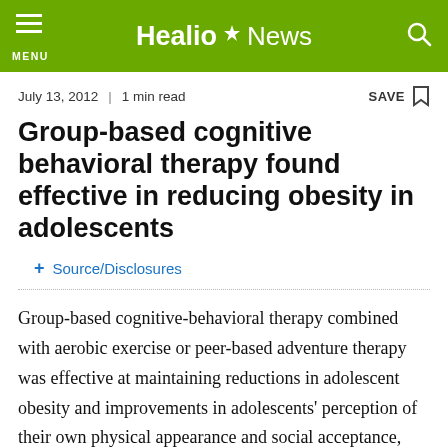Healio News
July 13, 2012 | 1 min read
Group-based cognitive behavioral therapy found effective in reducing obesity in adolescents
+ Source/Disclosures
Group-based cognitive-behavioral therapy combined with aerobic exercise or peer-based adventure therapy was effective at maintaining reductions in adolescent obesity and improvements in adolescents' perception of their own physical appearance and social acceptance, according to study results.